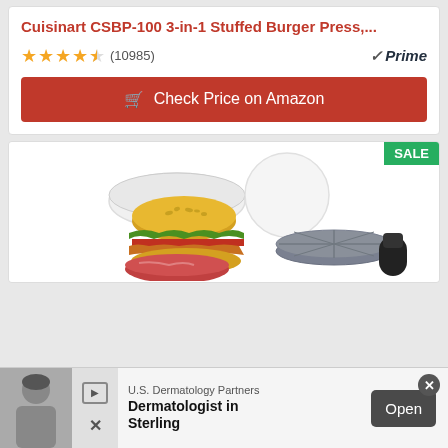Cuisinart CSBP-100 3-in-1 Stuffed Burger Press,...
★★★★½ (10985) ✓Prime
Check Price on Amazon
[Figure (photo): Product photo of a burger press kit showing a stuffed burger, white parchment paper discs, a raw meat patty, and a gray circular burger press with black handle. SALE badge in upper right corner.]
U.S. Dermatology Partners
Dermatologist in Sterling
Open